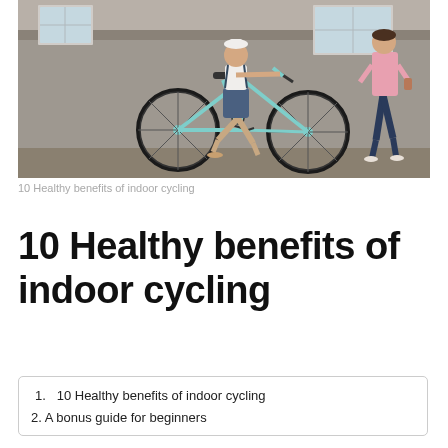[Figure (photo): Two women near a stone wall; one riding a mint-colored bicycle wearing denim overalls and white top, another walking in a pink shirt and dark jeans]
10 Healthy benefits of indoor cycling
10 Healthy benefits of indoor cycling
1.  10 Healthy benefits of indoor cycling
2. A bonus guide for beginners